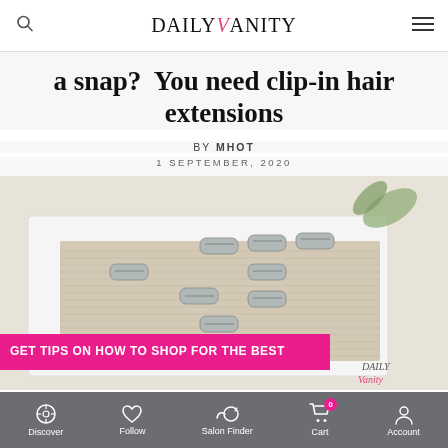DAILYVANITY
a snap? You need clip-in hair extensions
By MHOT
1 SEPTEMBER, 2020
[Figure (photo): Clip-in hair extensions with silver clips laid flat on a white surface, with green leaves visible in background. Pink banner overlay reads: GET TIPS ON HOW TO SHOP FOR THE BEST. Daily Vanity logo in bottom right corner.]
Discover  Follow  Salon Finder  Cart  Account